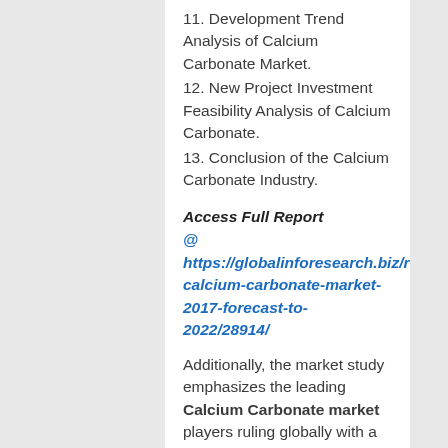11. Development Trend Analysis of Calcium Carbonate Market.
12. New Project Investment Feasibility Analysis of Calcium Carbonate.
13. Conclusion of the Calcium Carbonate Industry.
Access Full Report
@ https://globalinforesearch.biz/report/global-calcium-carbonate-market-2017-forecast-to-2022/28914/
Additionally, the market study emphasizes the leading Calcium Carbonate market players ruling globally with a summary of the key factors such as sales, contact details, product specifications & pictures, and market share. The assessment also represents the forecasts and historical facts & figures that make the Calcium Carbonate report an incredibly precious reference for marketing, counselors, industry administrative, sales & product managers, analysts, and other individuals hunting for essential industry data. The Calcium